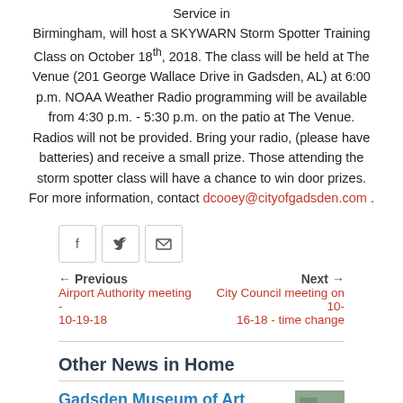Service in Birmingham, will host a SKYWARN Storm Spotter Training Class on October 18th, 2018. The class will be held at The Venue (201 George Wallace Drive in Gadsden, AL) at 6:00 p.m. NOAA Weather Radio programming will be available from 4:30 p.m. - 5:30 p.m. on the patio at The Venue. Radios will not be provided. Bring your radio, (please have batteries) and receive a small prize. Those attending the storm spotter class will have a chance to win door prizes. For more information, contact dcooey@cityofgadsden.com .
[Figure (other): Social share buttons: Facebook, Twitter, Email]
← Previous | Next →
Airport Authority meeting - 10-19-18
City Council meeting on 10-16-18 - time change
Other News in Home
Gadsden Museum of Art announces